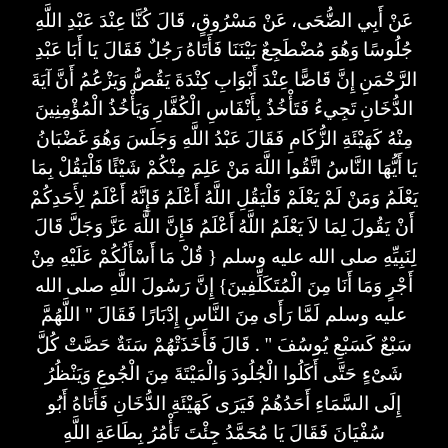عَنْ أَبِي الضُّحَى، عَنْ مَسْرُوقٍ، قَالَ كُنَّا عِنْدَ عَبْدِ اللَّهِ جُلُوسًا وَهُوَ مُضْطَجِعٌ بَيْنَنَا فَأَتَاهُ رَجُلٌ فَقَالَ يَا أَبَا عَبْدِ الرَّحْمَنِ إِنَّ قَاصًّا عِنْدَ أَبْوَابِ كِنْدَةَ يَقُصُّ وَيَزْعُمُ أَنَّ آيَةَ الدُّخَانِ تَجِيءُ فَتَأْخُذُ بِأَنْفَاسِ الْكُفَّارِ وَيَأْخُذُ الْمُؤْمِنِينَ مِنْهُ كَهَيْئَةِ الزُّكَامِ فَقَالَ عَبْدُ اللَّهِ وَجَلَسَ وَهُوَ غَضْبَانُ يَا أَيُّهَا النَّاسُ اتَّقُوا اللَّهَ مَنْ عَلِمَ مِنْكُمْ شَيْئًا فَلْيَقُلْ بِمَا يَعْلَمُ وَمَنْ لَمْ يَعْلَمْ فَلْيَقُلِ اللَّهُ أَعْلَمُ فَإِنَّهُ أَعْلَمُ لِأَحَدِكُمْ أَنْ يَقُولَ لِمَا لاَ يَعْلَمُ اللَّهُ أَعْلَمُ فَإِنَّ اللَّهَ عَزَّ وَجَلَّ قَالَ لِنَبِيِّهِ صلى الله عليه وسلم { قُلْ مَا أَسْأَلُكُمْ عَلَيْهِ مِنْ أَجْرٍ وَمَا أَنَا مِنَ الْمُتَكَلِّفِينَ} إِنَّ رَسُولَ اللَّهِ صلى الله عليه وسلم لَمَّا رَأَى مِنَ النَّاسِ إِدْبَارًا فَقَالَ " اللَّهُمَّ سَبْعٌ كَسَبْعِ يُوسُفَ " . قَالَ فَأَخَذَتْهُمْ سَنَةٌ حَصَّتْ كُلَّ شَىْءٍ حَتَّى أَكَلُوا الْجُلُودَ وَالْمَيْتَةَ مِنَ الْجُوعِ وَيَنْظُرُ إِلَى السَّمَاءِ أَحَدُهُمْ فَيَرَى كَهَيْئَةِ الدُّخَانِ فَأَتَاهُ أَبُو سُفْيَانَ فَقَالَ يَا مُحَمَّدُ جِئْتَ تَأْمُرُ بِطَاعَةِ اللَّهِ